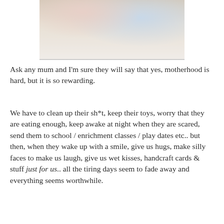[Figure (photo): Photo of a young girl holding something, wearing a blue and white patterned outfit]
Ask any mum and I'm sure they will say that yes, motherhood is hard, but it is so rewarding.
We have to clean up their sh*t, keep their toys, worry that they are eating enough, keep awake at night when they are scared, send them to school / enrichment classes / play dates etc.. but then, when they wake up with a smile, give us hugs, make silly faces to make us laugh, give us wet kisses, handcraft cards & stuff just for us.. all the tiring days seem to fade away and everything seems worthwhile.
It's really the little things that matter. Just over the weekend, Lil Pumpkin serenaded me with a song she made up herself. Maybe she was inspired by Valentine's Day, but she thought of the lyrics and tune herself and just started to play it for me. Was so happy and honestly, extremely proud that she did it.
Although some of her other songs are kinda random, I found